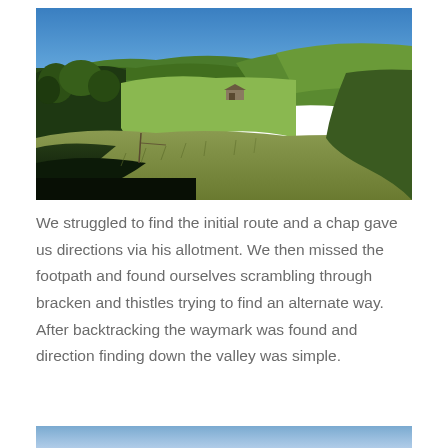[Figure (photo): Landscape photograph of a green valley with rolling hills under a clear blue sky. Fields of grass and bracken are visible with trees and a farm building in the middle distance. Shadows fall across the foreground.]
We struggled to find the initial route and a chap gave us directions via his allotment. We then missed the footpath and found ourselves scrambling through bracken and thistles trying to find an alternate way. After backtracking the waymark was found and direction finding down the valley was simple.
[Figure (photo): Partial view of another landscape photograph showing a blue sky — only the top strip is visible at the bottom of the page.]